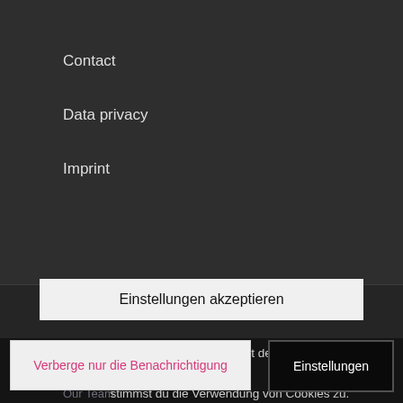Contact
Data privacy
Imprint
SITEMAP
Home
Our Mission
Our Team
Diese Seite verwendet Cookies. Mit der Weiternutzung der Seite, stimmst du die Verwendung von Cookies zu.
Einstellungen akzeptieren
Verberge nur die Benachrichtigung
Einstellungen